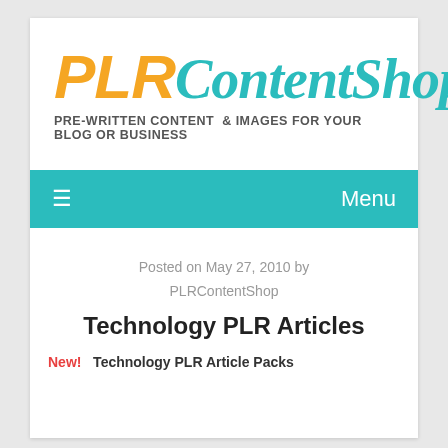[Figure (logo): PLRContentShop logo with tagline 'PRE-WRITTEN CONTENT & IMAGES FOR YOUR BLOG OR BUSINESS']
Menu
Posted on May 27, 2010 by PLRContentShop
Technology PLR Articles
New! Technology PLR Article Packs